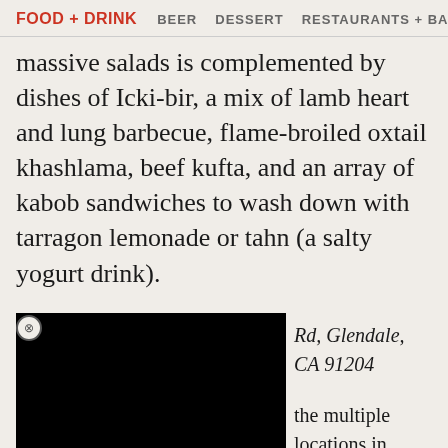FOOD + DRINK   BEER   DESSERT   RESTAURANTS + BA
massive salads is complemented by dishes of Icki-bir, a mix of lamb heart and lung barbecue, flame-broiled oxtail khashlama, beef kufta, and an array of kabob sandwiches to wash down with tarragon lemonade or tahn (a salty yogurt drink).
[Figure (other): Black advertisement overlay box with close (X) button in top-left corner]
Rd, Glendale, CA 91204
the multiple locations in takes pride in serving classic and modernized versions of perfect Armenian snacks and Soviet-inflected delicacies. Customers from all over LA come back for freshly-baked batches of doughnuts called ponchiks and the